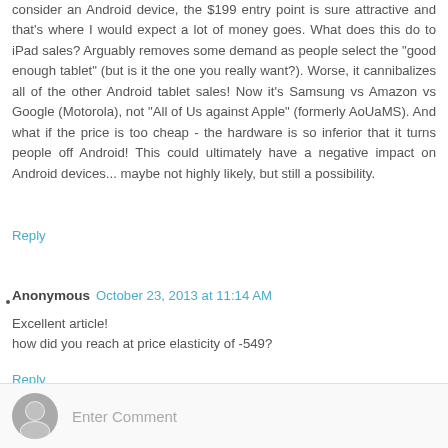consider an Android device, the $199 entry point is sure attractive and that's where I would expect a lot of money goes. What does this do to iPad sales? Arguably removes some demand as people select the "good enough tablet" (but is it the one you really want?). Worse, it cannibalizes all of the other Android tablet sales! Now it's Samsung vs Amazon vs Google (Motorola), not "All of Us against Apple" (formerly AoUaMS). And what if the price is too cheap - the hardware is so inferior that it turns people off Android! This could ultimately have a negative impact on Android devices... maybe not highly likely, but still a possibility.
Reply
Anonymous October 23, 2013 at 11:14 AM
Excellent article!
how did you reach at price elasticity of -549?
Reply
Enter Comment